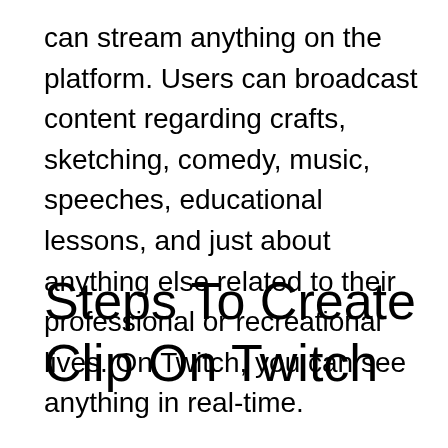can stream anything on the platform. Users can broadcast content regarding crafts, sketching, comedy, music, speeches, educational lessons, and just about anything else related to their professional or recreational lives. On Twitch, you can see anything in real-time.
Steps To Create Clip On Twitch